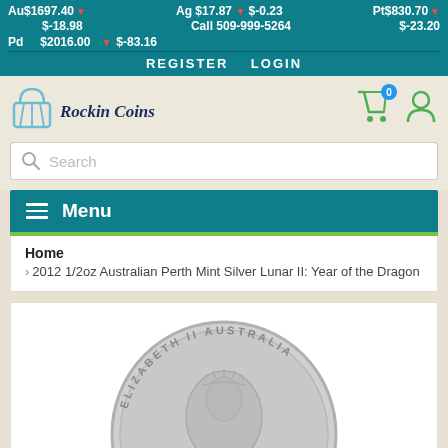Au$1697.40 ▼ $-18.98   Ag $17.87 ▼ $-0.23   Pt$830.70 ▼ $-23.20   Pd $2016.00 ▼ $-83.16   Call 509-999-5264   REGISTER  LOGIN
[Figure (logo): Rockin Coins logo with shopping cart icon and italic text]
Search
Menu
Home
> 2012 1/2oz Australian Perth Mint Silver Lunar II: Year of the Dragon
[Figure (photo): Silver coin showing Queen Elizabeth II portrait, text reading ELIZABETH II AUSTRALIA]